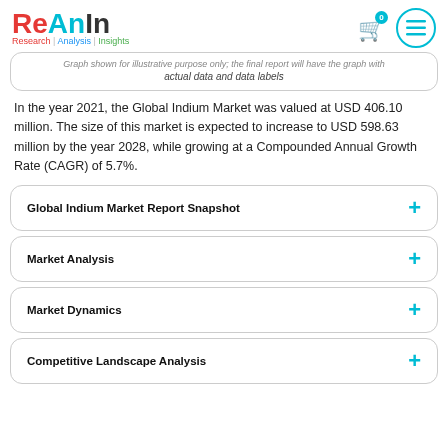ReAnIn Research | Analysis | Insights
Graph shown for illustrative purpose only; the final report will have the graph with actual data and data labels
In the year 2021, the Global Indium Market was valued at USD 406.10 million. The size of this market is expected to increase to USD 598.63 million by the year 2028, while growing at a Compounded Annual Growth Rate (CAGR) of 5.7%.
Global Indium Market Report Snapshot
Market Analysis
Market Dynamics
Competitive Landscape Analysis